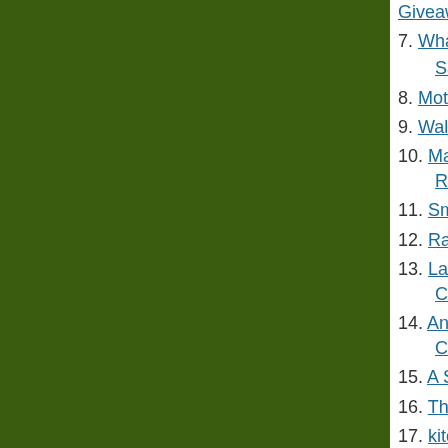[Figure (other): Dark olive/green colored rectangle occupying the left portion of the page]
Giveaway)
7. What About Mo... Saved)
8. Mother Hen (re-...
9. Walking Frugall...
10. Many Little Ble... Redecorating)
11. Smockity Froc...
12. Raise Them U...
13. Laura @ Heav... Cream Cheese Co...
14. Angela @ Diap... Christmas Cheer)
15. A Simple Walk...
16. The Diaper Dia...
17. kitchendoor (g...
18. Janelle (Neat h... with child's hand)
19. $5 Dinners (Pr...
20. Cooking Durin... recipe)
21. Amy @ Finer T...
22. The Happy Ho...